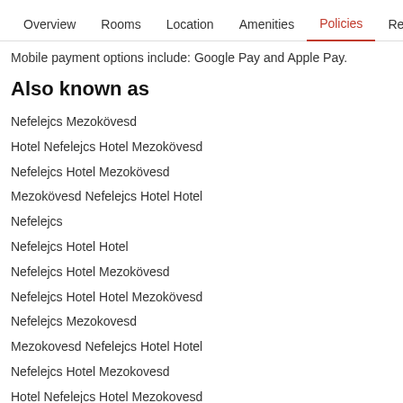Overview  Rooms  Location  Amenities  Policies  Reviews
Mobile payment options include: Google Pay and Apple Pay.
Also known as
Nefelejcs Mezokövesd
Hotel Nefelejcs Hotel Mezokövesd
Nefelejcs Hotel Mezokövesd
Mezokövesd Nefelejcs Hotel Hotel
Nefelejcs
Nefelejcs Hotel Hotel
Nefelejcs Hotel Mezokövesd
Nefelejcs Hotel Hotel Mezokövesd
Nefelejcs Mezokovesd
Mezokovesd Nefelejcs Hotel Hotel
Nefelejcs Hotel Mezokovesd
Hotel Nefelejcs Hotel Mezokovesd
Hotel Nefelejcs Hotel
Nefelejcs
Nefelejcs Hotel Mezokovesd